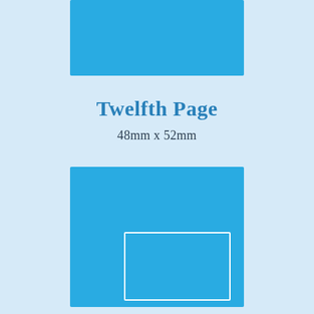[Figure (illustration): A horizontal blue rectangle (wider than tall) centered near the top of the page, representing a 'Twelfth Page' ad unit proportion reference — the top portion cropped.]
Twelfth Page
48mm x 52mm
[Figure (illustration): A portrait-oriented blue rectangle centered in the lower portion of the page, with a smaller white-outlined rectangle in the lower-right area of the blue shape, representing the Twelfth Page ad unit size (48mm x 52mm).]